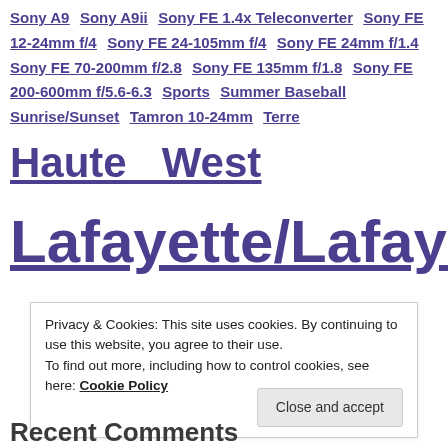Sony A9 Sony A9ii Sony FE 1.4x Teleconverter Sony FE 12-24mm f/4 Sony FE 24-105mm f/4 Sony FE 24mm f/1.4 Sony FE 70-200mm f/2.8 Sony FE 135mm f/1.8 Sony FE 200-600mm f/5.6-6.3 Sports Summer Baseball Sunrise/Sunset Tamron 10-24mm Terre Haute West Lafayette/Lafayett
Privacy & Cookies: This site uses cookies. By continuing to use this website, you agree to their use.
To find out more, including how to control cookies, see here: Cookie Policy
Recent Comments